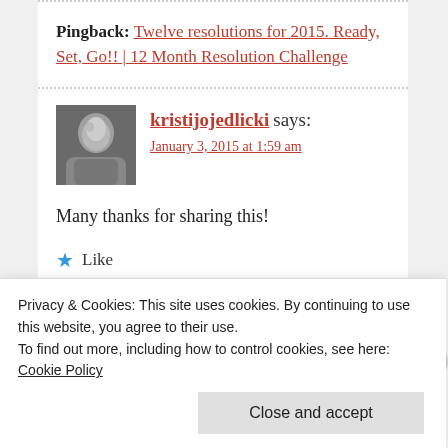Pingback: Twelve resolutions for 2015. Ready, Set, Go!! | 12 Month Resolution Challenge
kristijojedlicki says: January 3, 2015 at 1:59 am
Many thanks for sharing this!
Like
Reply
Privacy & Cookies: This site uses cookies. By continuing to use this website, you agree to their use. To find out more, including how to control cookies, see here: Cookie Policy
Close and accept